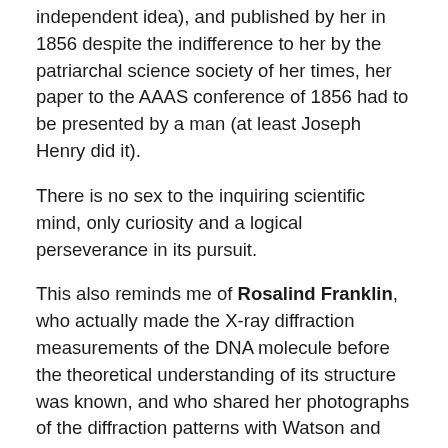independent idea), and published by her in 1856 despite the indifference to her by the patriarchal science society of her times, her paper to the AAAS conference of 1856 had to be presented by a man (at least Joseph Henry did it).
There is no sex to the inquiring scientific mind, only curiosity and a logical perseverance in its pursuit.
This also reminds me of Rosalind Franklin, who actually made the X-ray diffraction measurements of the DNA molecule before the theoretical understanding of its structure was known, and who shared her photographs of the diffraction patterns with Watson and Crick, from which they deciphered the double helix molecular structure, wrote their paper on it without giving any credit to nor mention of Franklin (and in his book, which I read in High School, Watson, an irredeemable sexist, was quite gleeful in his attitude to the female scientists he had encountered …